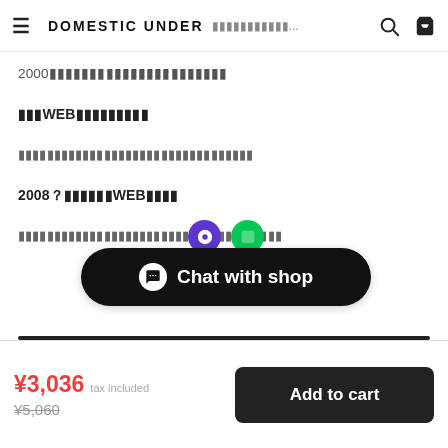≡  DOMESTIC UNDER  ｜ oooooooooo... 🔍 🛒
2000oooooooooooooooooooooo
oooWEBooooooooooo
ooooooooooooooooooooooooooooooooooo
2008？ooooooWEBooooo
ooooooooooooooooooooooooooooooooooooo
[Figure (other): Chat with shop button and social media icons (purple and green circles)]
¥3,036 tax included ¥5,060  |  Add to cart